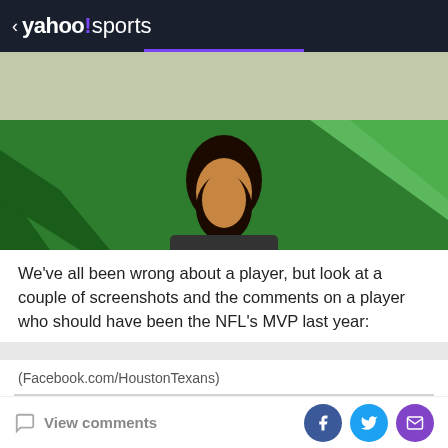< yahoo!sports
[Figure (photo): Yahoo Sports advertisement banner with light olive/grey background]
[Figure (photo): A smiling woman with dark hair against a green background with geometric triangle shapes, Houston Texans themed]
We've all been wrong about a player, but look at a couple of screenshots and the comments on a player who should have been the NFL's MVP last year:
(Facebook.com/HoustonTexans)
View comments